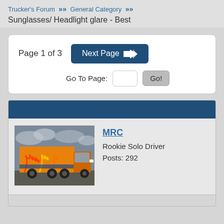Trucker's Forum >> General Category >>
Sunglasses/ Headlight glare - Best
Page 1 of 3  Next Page  Go To Page: [input] Go!
[Figure (photo): Orange semi truck with colorful flame graphics on the side, parked on a lot with cloudy sky background]
MRC
Rookie Solo Driver
Posts: 292